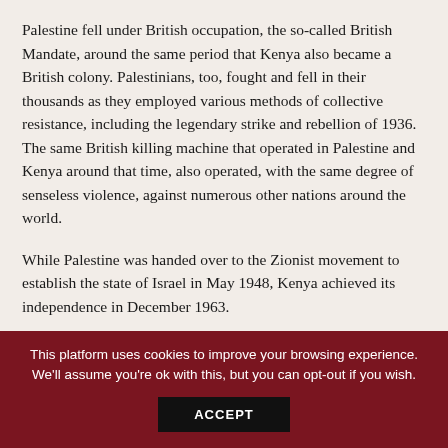Palestine fell under British occupation, the so-called British Mandate, around the same period that Kenya also became a British colony. Palestinians, too, fought and fell in their thousands as they employed various methods of collective resistance, including the legendary strike and rebellion of 1936. The same British killing machine that operated in Palestine and Kenya around that time, also operated, with the same degree of senseless violence, against numerous other nations around the world.
While Palestine was handed over to the Zionist movement to establish the state of Israel in May 1948, Kenya achieved its independence in December 1963.
At one of my recent talks in Nairobi, I was asked by a
This platform uses cookies to improve your browsing experience. We'll assume you're ok with this, but you can opt-out if you wish.
ACCEPT